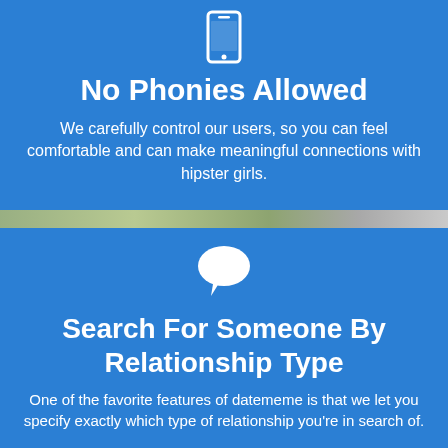[Figure (illustration): White smartphone/mobile phone icon on blue background]
No Phonies Allowed
We carefully control our users, so you can feel comfortable and can make meaningful connections with hipster girls.
[Figure (illustration): White speech bubble / chat icon on blue background]
Search For Someone By Relationship Type
One of the favorite features of datememe is that we let you specify exactly which type of relationship you're in search of.